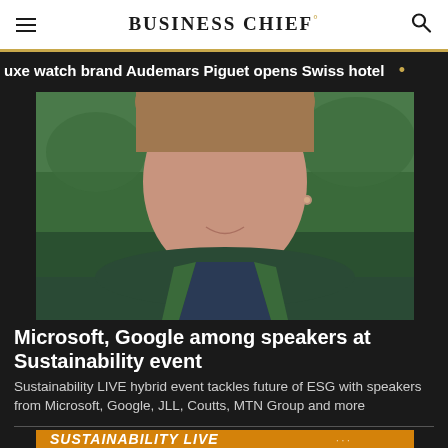BUSINESS CHIEF°
uxe watch brand Audemars Piguet opens Swiss hotel  •
[Figure (photo): Close-up photo of a person from chin to chest, wearing a dark green jacket with a navy collar, smiling slightly, with an outdoor green background]
Microsoft, Google among speakers at Sustainability event
Sustainability LIVE hybrid event tackles future of ESG with speakers from Microsoft, Google, JLL, Coutts, MTN Group and more
[Figure (photo): Orange banner for Sustainability LIVE London event with silhouettes of speakers]